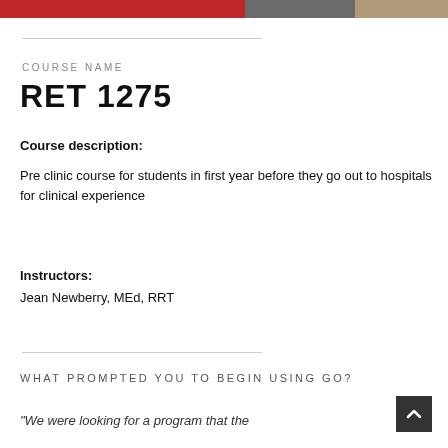COURSE NAME
RET 1275
Course description:
Pre clinic course for students in first year before they go out to hospitals for clinical experience
Instructors:
Jean Newberry, MEd, RRT
WHAT PROMPTED YOU TO BEGIN USING GO?
“We were looking for a program that the